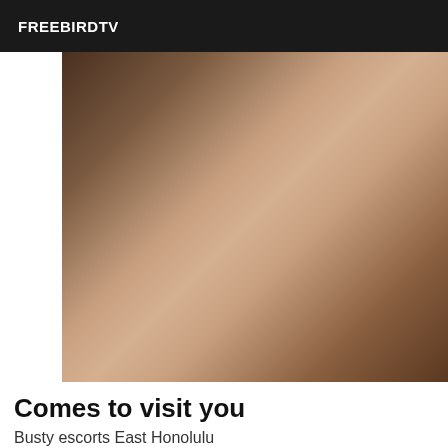FREEBIRDTV
[Figure (photo): Photo of a person in black and red lingerie standing in a room]
Comes to visit you
Busty escorts East Honolulu